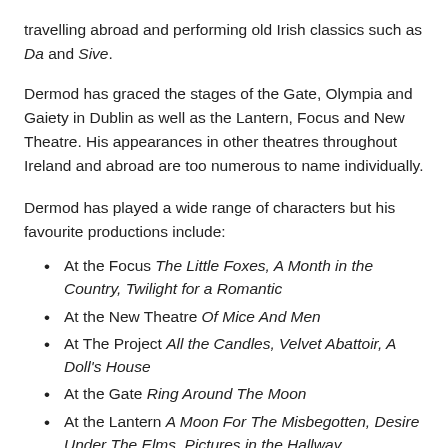travelling abroad and performing old Irish classics such as Da and Sive.
Dermod has graced the stages of the Gate, Olympia and Gaiety in Dublin as well as the Lantern, Focus and New Theatre. His appearances in other theatres throughout Ireland and abroad are too numerous to name individually.
Dermod has played a wide range of characters but his favourite productions include:
At the Focus The Little Foxes, A Month in the Country, Twilight for a Romantic
At the New Theatre Of Mice And Men
At The Project All the Candles, Velvet Abattoir, A Doll's House
At the Gate Ring Around The Moon
At the Lantern A Moon For The Misbegotten, Desire Under The Elms, Pictures in the Hallway